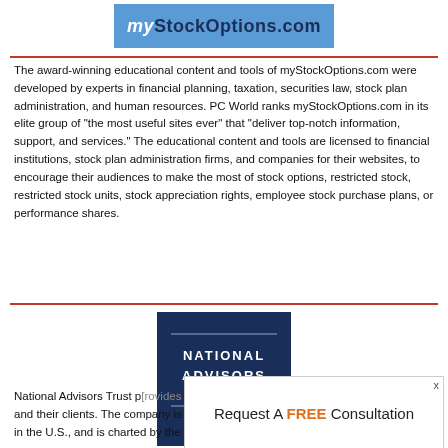[Figure (logo): myStockOptions.com logo banner with blue background, italic 'my' prefix and bold dark text 'StockOptions.com']
The award-winning educational content and tools of myStockOptions.com were developed by experts in financial planning, taxation, securities law, stock plan administration, and human resources. PC World ranks myStockOptions.com in its elite group of "the most useful sites ever" that "deliver top-notch information, support, and services." The educational content and tools are licensed to financial institutions, stock plan administration firms, and companies for their websites, to encourage their audiences to make the most of stock options, restricted stock, restricted stock units, stock appreciation rights, employee stock purchase plans, or performance shares.
[Figure (logo): National Advisors Trust logo: dark navy square with white text 'NATIONAL ADVISORS TRUST' and an orange triangle/pyramid icon at bottom]
[Figure (other): Popup overlay: 'Request A FREE Consultation' with close button]
National Advisors Trust p[rovides trust and] custodial services to support advisors and their clients. The company is one of the largest independent trust companies in the U.S., and is charted by the Office of Thrift Supervision, a bureau of the U.S.